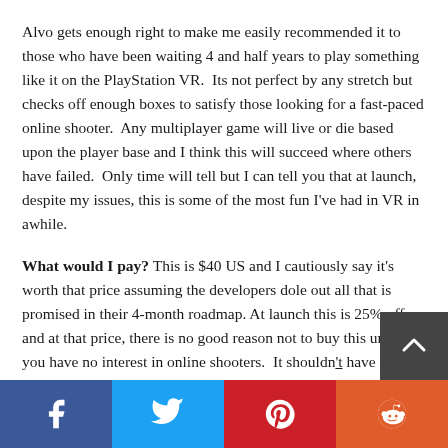Alvo gets enough right to make me easily recommended it to those who have been waiting 4 and half years to play something like it on the PlayStation VR.  Its not perfect by any stretch but checks off enough boxes to satisfy those looking for a fast-paced online shooter.  Any multiplayer game will live or die based upon the player base and I think this will succeed where others have failed.  Only time will tell but I can tell you that at launch, despite my issues, this is some of the most fun I've had in VR in awhile.
What would I pay? This is $40 US and I cautiously say it's worth that price assuming the developers dole out all that is promised in their 4-month roadmap. At launch this is 25% off and at that price, there is no good reason not to buy this unless you have no interest in online shooters.  It shouldn't have taken this long to get a shooter like this on PSVR and…
[Figure (other): Social sharing bar with Facebook, Twitter, Pinterest, and Reddit buttons]